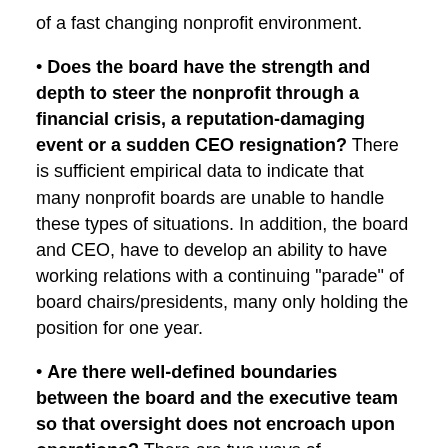of a fast changing nonprofit environment.
Does the board have the strength and depth to steer the nonprofit through a financial crisis, a reputation-damaging event or a sudden CEO resignation? There is sufficient empirical data to indicate that many nonprofit boards are unable to handle these types of situations. In addition, the board and CEO, have to develop an ability to have working relations with a continuing “parade” of board chairs/presidents, many only holding the position for one year.
Are there well-defined boundaries between the board and the executive team so that oversight does not encroach upon operations? There are two ways of accomplishing this objective. One is to attempt to define the boundaries involved in detail. It requires producing a